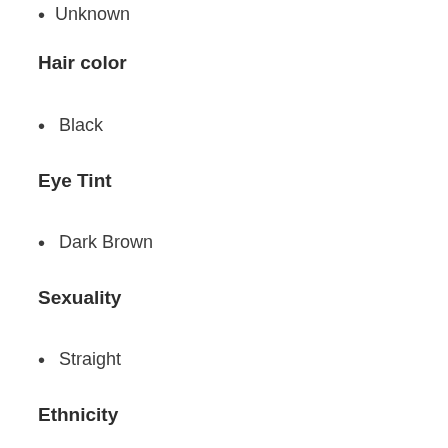Unknown
Hair color
Black
Eye Tint
Dark Brown
Sexuality
Straight
Ethnicity
Black